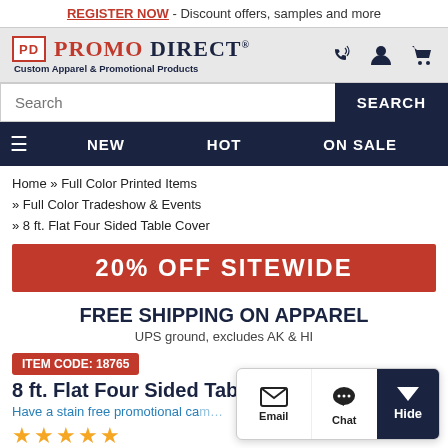REGISTER NOW - Discount offers, samples and more
[Figure (logo): Promo Direct logo with PD box and 'Custom Apparel & Promotional Products' tagline]
Search
NEW  HOT  ON SALE
Home » Full Color Printed Items » Full Color Tradeshow & Events » 8 ft. Flat Four Sided Table Cover
20% OFF SITEWIDE
FREE SHIPPING ON APPAREL
UPS ground, excludes AK & HI
ITEM CODE: 18765
8 ft. Flat Four Sided Table Cover
Have a stain free promotional campaign
[Figure (other): Chat widget with Email, Chat, and Hide buttons]